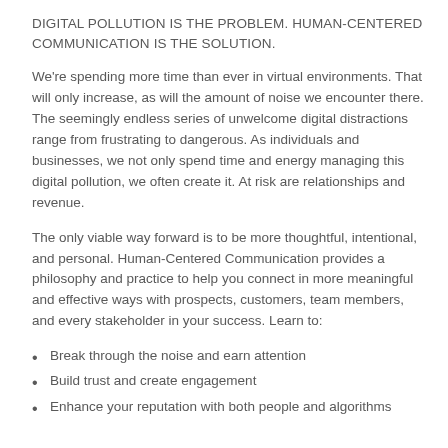DIGITAL POLLUTION IS THE PROBLEM. HUMAN-CENTERED COMMUNICATION IS THE SOLUTION.
We're spending more time than ever in virtual environments. That will only increase, as will the amount of noise we encounter there. The seemingly endless series of unwelcome digital distractions range from frustrating to dangerous. As individuals and businesses, we not only spend time and energy managing this digital pollution, we often create it. At risk are relationships and revenue.
The only viable way forward is to be more thoughtful, intentional, and personal. Human-Centered Communication provides a philosophy and practice to help you connect in more meaningful and effective ways with prospects, customers, team members, and every stakeholder in your success. Learn to:
Break through the noise and earn attention
Build trust and create engagement
Enhance your reputation with both people and algorithms